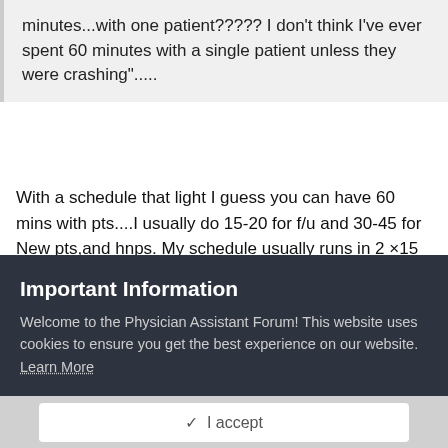minutes...with one patient????? I don't think I've ever spent 60 minutes with a single patient unless they were crashing".....
With a schedule that light I guess you can have 60 mins with pts....I usually do 15-20 for f/u and 30-45 for New pts,and hnps. My schedule usually runs in 2 ×15 min slots for the first half of the hour and leave the second 1/2 for the long visits. So about 2-3/hr from 8-knockoff which is about 530. So about 20 pts a day. In starting at a brand new practice in a few weeks and my schedule nxt month is about 8 per day. I hope it lasts..LOL good luck phyasst! Welcome to IM/PC
Important Information
Welcome to the Physician Assistant Forum! This website uses cookies to ensure you get the best experience on our website. Learn More
✓  I accept